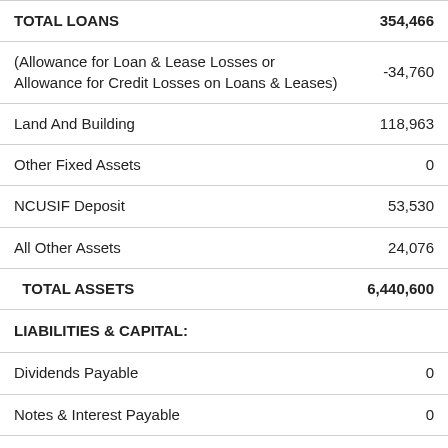| Item | Value |
| --- | --- |
| TOTAL LOANS | 354,466 |
| (Allowance for Loan & Lease Losses or Allowance for Credit Losses on Loans & Leases) | -34,760 |
| Land And Building | 118,963 |
| Other Fixed Assets | 0 |
| NCUSIF Deposit | 53,530 |
| All Other Assets | 24,076 |
| TOTAL ASSETS | 6,440,600 |
| LIABILITIES & CAPITAL: |  |
| Dividends Payable | 0 |
| Notes & Interest Payable | 0 |
| Accounts Payable & Other Liabilities | 24,269 |
| Uninsured Secondary Capital and | 0 |